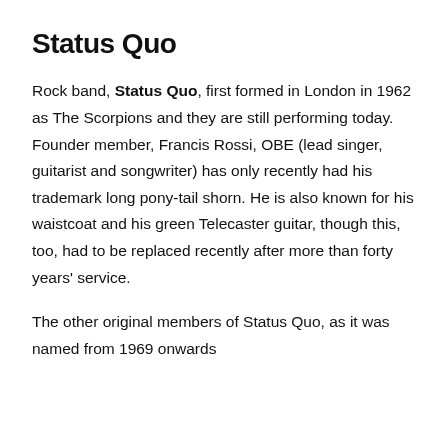Status Quo
Rock band, Status Quo, first formed in London in 1962 as The Scorpions and they are still performing today. Founder member, Francis Rossi, OBE (lead singer, guitarist and songwriter) has only recently had his trademark long pony-tail shorn. He is also known for his waistcoat and his green Telecaster guitar, though this, too, had to be replaced recently after more than forty years' service.
The other original members of Status Quo, as it was named from 1969 onwards